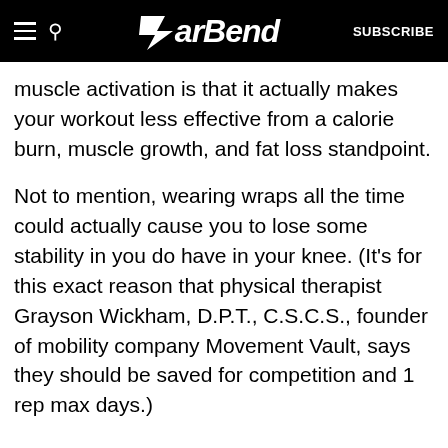BarBend  SUBSCRIBE
muscle activation is that it actually makes your workout less effective from a calorie burn, muscle growth, and fat loss standpoint.
Not to mention, wearing wraps all the time could actually cause you to lose some stability in you do have in your knee. (It’s for this exact reason that physical therapist Grayson Wickham, D.P.T., C.S.C.S., founder of mobility company Movement Vault, says they should be saved for competition and 1 rep max days.)